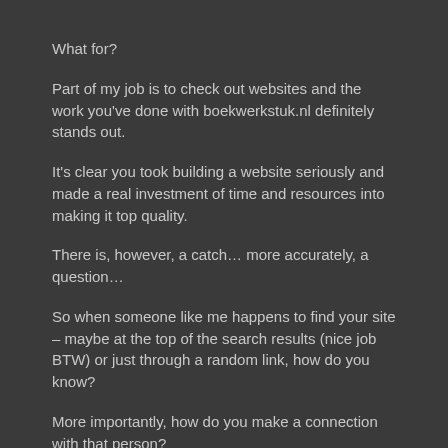What for?
Part of my job is to check out websites and the work you've done with boekwerkstuk.nl definitely stands out.
It's clear you took building a website seriously and made a real investment of time and resources into making it top quality.
There is, however, a catch… more accurately, a question…
So when someone like me happens to find your site – maybe at the top of the search results (nice job BTW) or just through a random link, how do you know?
More importantly, how do you make a connection with that person?
Studies show that 7 out of 10 visitors don't stick around – they're there one second and then gone with the wind.
Here's a way to create INSTANT engagement that you may not have known about…